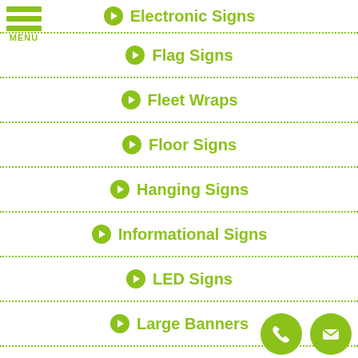[Figure (other): Hamburger menu icon with three green bars and MENU label]
Electronic Signs
Flag Signs
Fleet Wraps
Floor Signs
Hanging Signs
Informational Signs
LED Signs
Large Banners
Lighted Signs
[Figure (other): Phone and email contact icons in green circles at bottom right]